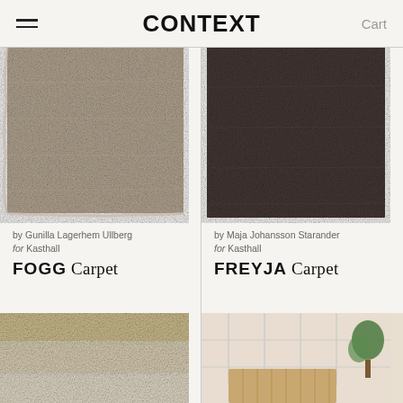CONTEXT   Cart
[Figure (photo): Close-up of FOGG Carpet — taupe/beige textured shaggy carpet swatch with frayed edges]
by Gunilla Lagerhem Ullberg for Kasthall
FOGG Carpet
[Figure (photo): Close-up of FREYJA Carpet — dark charcoal/brown textured carpet swatch]
by Maja Johansson Starander for Kasthall
FREYJA Carpet
[Figure (photo): Bottom-left: light beige/grey flat-weave carpet partially visible]
[Figure (photo): Bottom-right: interior scene with wooden slatted furniture and a plant, partially visible]